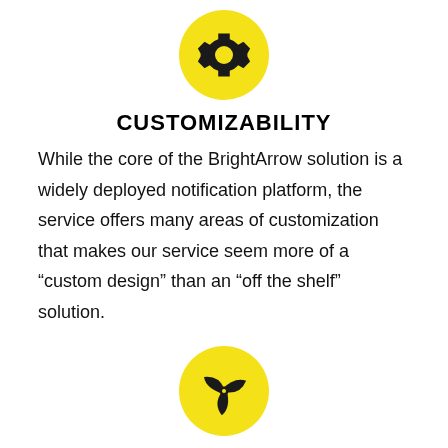[Figure (illustration): Yellow circle with a black gear/settings icon in the center]
CUSTOMIZABILITY
While the core of the BrightArrow solution is a widely deployed notification platform, the service offers many areas of customization that makes our service seem more of a “custom design” than an “off the shelf” solution.
[Figure (illustration): Yellow circle with a black fan/pinwheel icon in the center]
VERSATILITY
Our products can do everything they’re designed